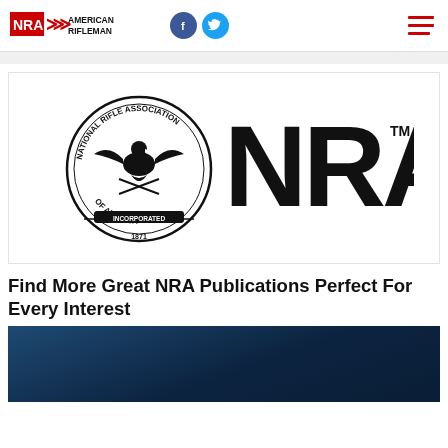NRA American Rifleman
[Figure (logo): NRA logo with National Rifle Association of America seal and large NRA text with TM mark]
Find More Great NRA Publications Perfect For Every Interest
[Figure (photo): Dark blue gradient background image, beginning of a photo]